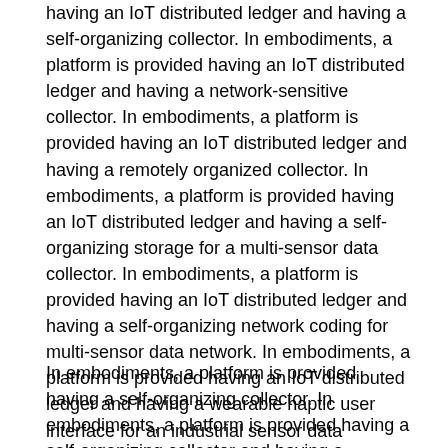having an IoT distributed ledger and having a self-organizing collector. In embodiments, a platform is provided having an IoT distributed ledger and having a network-sensitive collector. In embodiments, a platform is provided having an IoT distributed ledger and having a remotely organized collector. In embodiments, a platform is provided having an IoT distributed ledger and having a self-organizing storage for a multi-sensor data collector. In embodiments, a platform is provided having an IoT distributed ledger and having a self-organizing network coding for multi-sensor data network. In embodiments, a platform is provided having an IoT distributed ledger and having a wearable haptic user interface for an industrial sensor data collector, with vibration, heat, electrical and/or sound outputs. In embodiments, a platform is provided having an IoT distributed ledger and having heat maps displaying collected data for AR/VR. In embodiments, a platform is provided having an IoT distributed ledger and having automatically tuned AR/VR visualization of data collected by a data collector.
In embodiments, a platform is provided having a self-organizing collector. In embodiments, a platform is provided having a self-organizing collector and having a